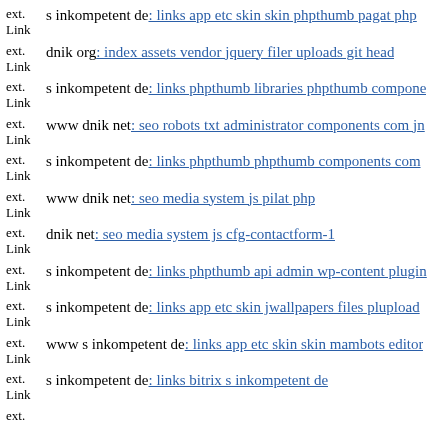ext. Link s inkompetent de: links app etc skin skin phpthumb pagat php
ext. Link dnik org: index assets vendor jquery filer uploads git head
ext. Link s inkompetent de: links phpthumb libraries phpthumb compone
ext. Link www dnik net: seo robots txt administrator components com jn
ext. Link s inkompetent de: links phpthumb phpthumb components com
ext. Link www dnik net: seo media system js pilat php
ext. Link dnik net: seo media system js cfg-contactform-1
ext. Link s inkompetent de: links phpthumb api admin wp-content plugin
ext. Link s inkompetent de: links app etc skin jwallpapers files plupload
ext. Link www s inkompetent de: links app etc skin skin mambots editor
ext. Link s inkompetent de: links bitrix s inkompetent de
ext.